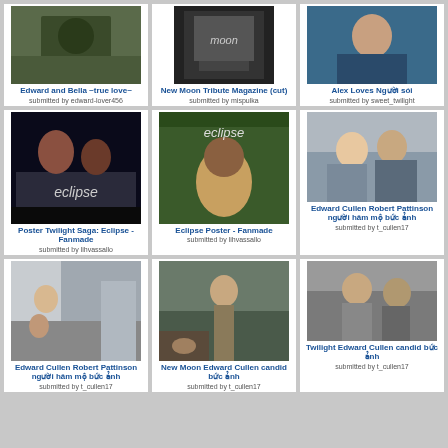[Figure (photo): Edward and Bella ~true love~ thumbnail]
Edward and Bella ~true love~
submitted by edward-lover456
[Figure (photo): New Moon Tribute Magazine (cut) thumbnail]
New Moon Tribute Magazine (cut)
submitted by mispulka
[Figure (photo): Alex Loves Người sói thumbnail]
Alex Loves Người sói
submitted by sweet_twilight
[Figure (photo): Poster Twilight Saga Eclipse Fanmade thumbnail]
Poster Twilight Saga: Eclipse - Fanmade
submitted by lihvassallo
[Figure (photo): Eclipse Poster Fanmade thumbnail]
Eclipse Poster - Fanmade
submitted by lihvassallo
[Figure (photo): Edward Cullen Robert Pattinson fan photo thumbnail]
Edward Cullen Robert Pattinson người hâm mộ bức ảnh
submitted by t_cullen17
[Figure (photo): Edward Cullen Robert Pattinson candid photo thumbnail]
Edward Cullen Robert Pattinson người hâm mộ bức ảnh
submitted by t_cullen17
[Figure (photo): New Moon Edward Cullen candid photo thumbnail]
New Moon Edward Cullen candid bức ảnh
submitted by t_cullen17
[Figure (photo): Twilight Edward Cullen candid photo thumbnail]
Twilight Edward Cullen candid bức ảnh
submitted by t_cullen17